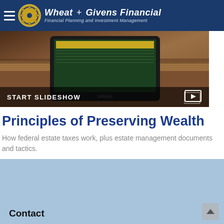Wheat + Givens Financial — Financial Planning and Investment Management
[Figure (screenshot): Slideshow banner image showing a tablet device on a wooden desk with a financial presentation on screen. Overlaid bar at bottom reads START SLIDESHOW with a slideshow/play icon on the right.]
Principles of Preserving Wealth
How federal estate taxes work, plus estate management documents and tactics.
Contact